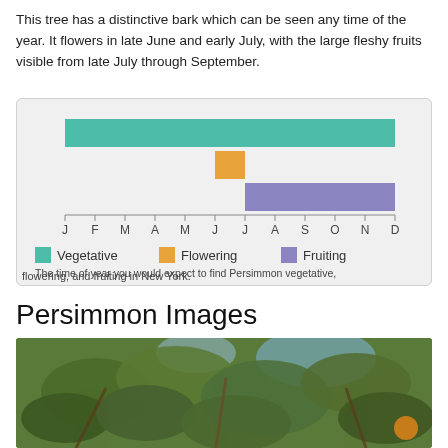This tree has a distinctive bark which can be seen any time of the year. It flowers in late June and early July, with the large fleshy fruits visible from late July through September.
[Figure (bar-chart): Horizontal bar chart showing vegetative (teal, Jan-Nov), flowering (orange, late June), and fruiting (purple, July-Nov) periods for Persimmon in New York]
The time of year you would expect to find Persimmon vegetative, flowering, and fruiting in New York.
Persimmon Images
[Figure (photo): Close-up photograph of persimmon tree leaves, green foliage with branches visible, taken in natural outdoor lighting.]